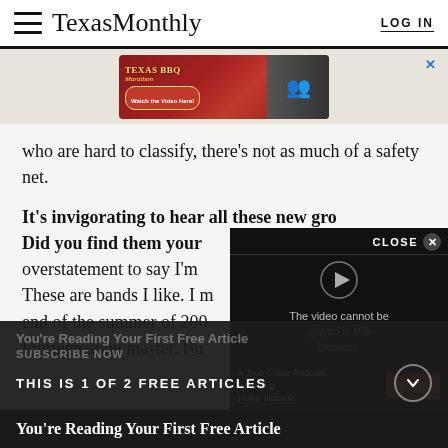TexasMonthly  LOG IN
[Figure (screenshot): Texas BBQ Marathon advertisement banner with red background, decorative text and 'Watch the Video Here!' button, with a photo of people on the right side]
who are hard to classify, there's not as much of a safety net.
It's invigorating to hear all these new groups. Did you find them yourself? overstatement to say I'm These are bands I like. I m end of the summer of 200 fourteen-song master. But I had a large house fre
[Figure (screenshot): Video popup overlay showing 'CLOSE X' button, a dark video frame with play arrow icon, text 'The video cannot be played in this browser.' and a podcast advertisement for 'A True Crime Podcast from Skip Hollandsworth' with a MORE button and discount code]
You're Reading Your First Free Article  SUBSCRIBE NOW  THIS IS 1 OF 2 FREE ARTICLES
You're Reading Your First Free Article